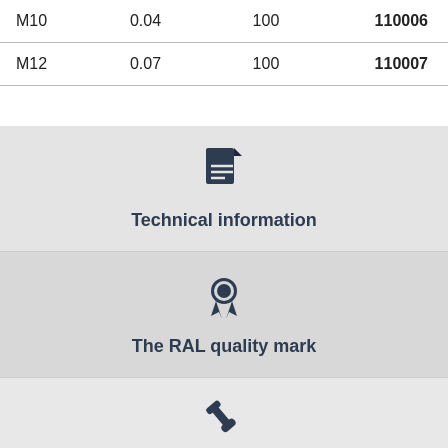| M10 | 0.04 | 100 | 110006 |
| M12 | 0.07 | 100 | 110007 |
[Figure (infographic): Document icon with lines representing text, labeled Technical information]
Technical information
[Figure (infographic): Award/quality badge icon, labeled The RAL quality mark]
The RAL quality mark
[Figure (infographic): Wrench/tool icon at bottom of page]